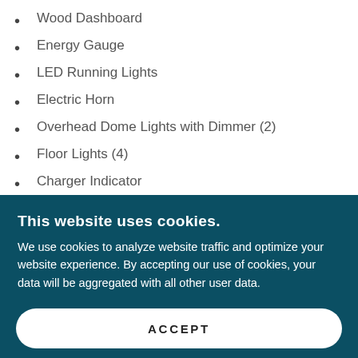Wood Dashboard
Energy Gauge
LED Running Lights
Electric Horn
Overhead Dome Lights with Dimmer (2)
Floor Lights (4)
Charger Indicator
Phone Holder
Fusion™ Bluetooth Stereo w/ 4 Waterproof
This website uses cookies.
We use cookies to analyze website traffic and optimize your website experience. By accepting our use of cookies, your data will be aggregated with all other user data.
ACCEPT